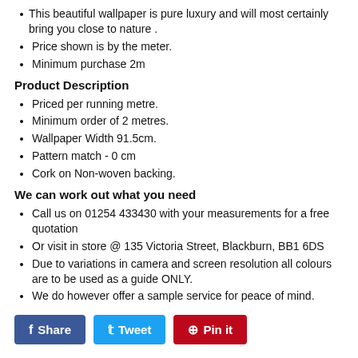This beautiful wallpaper is pure luxury and will most certainly bring you close to nature .
Price shown is by the meter.
Minimum purchase 2m
Product Description
Priced per running metre.
Minimum order of 2 metres.
Wallpaper Width 91.5cm.
Pattern match - 0 cm
Cork on Non-woven backing.
We can work out what you need
Call us on 01254 433430 with your measurements for a free quotation
Or visit in store @ 135 Victoria Street, Blackburn, BB1 6DS
Due to variations in camera and screen resolution all colours are to be used as a guide ONLY.
We do however offer a sample service for peace of mind.
Share | Tweet | Pin it